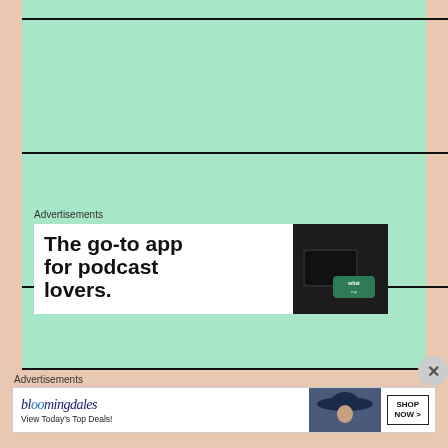[Figure (other): Mint green content area with horizontal black divider lines forming a lined-paper or form appearance]
Advertisements
[Figure (other): Advertisement banner: The go-to app for podcast lovers. Shows a dark device/tablet and a green badge.]
Advertisements
[Figure (other): Bloomingdales advertisement banner: bloomingdales logo, View Today's Top Deals!, with image of woman in hat and SHOP NOW > button]